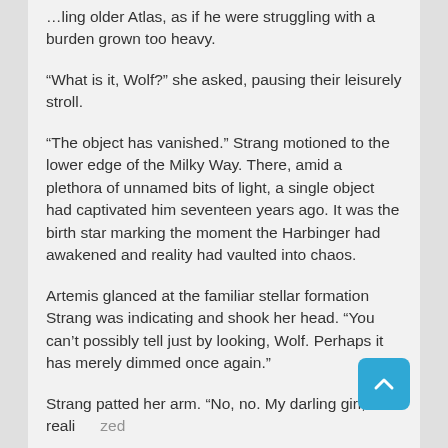…ling older Atlas, as if he were struggling with a burden grown too heavy.
“What is it, Wolf?” she asked, pausing their leisurely stroll.
“The object has vanished.” Strang motioned to the lower edge of the Milky Way. There, amid a plethora of unnamed bits of light, a single object had captivated him seventeen years ago. It was the birth star marking the moment the Harbinger had awakened and reality had vaulted into chaos.
Artemis glanced at the familiar stellar formation Strang was indicating and shook her head. “You can’t possibly tell just by looking, Wolf. Perhaps it has merely dimmed once again.”
Strang patted her arm. “No, no. My darling girl, I realized the object has now become invisible to the human eye…